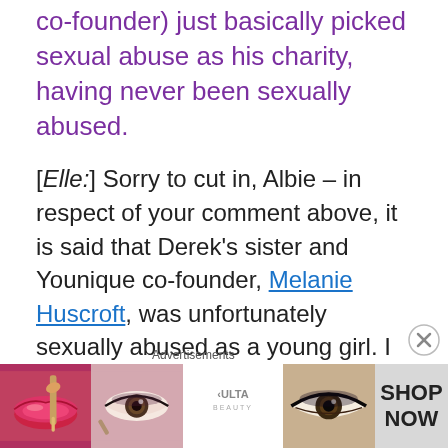co-founder) just basically picked sexual abuse as his charity, having never been sexually abused.
[Elle:] Sorry to cut in, Albie – in respect of your comment above, it is said that Derek's sister and Younique co-founder, Melanie Huscroft, was unfortunately sexually abused as a young girl. I knew that this claim had been alluded to by uplines in Facebook groups (when I was a presenter), so I thought I'd take a look for
[Figure (screenshot): Advertisement banner for ULTA Beauty showing close-up images of makeup looks with text SHOP NOW]